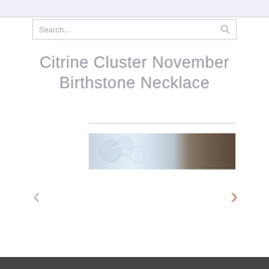Search...
Citrine Cluster November Birthstone Necklace
[Figure (photo): Product image showing a necklace with citrine cluster and natural stone background]
‹
›